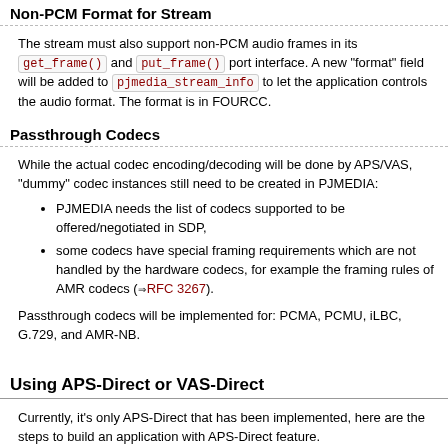Non-PCM Format for Stream
The stream must also support non-PCM audio frames in its get_frame() and put_frame() port interface. A new "format" field will be added to pjmedia_stream_info to let the application controls the audio format. The format is in FOURCC.
Passthrough Codecs
While the actual codec encoding/decoding will be done by APS/VAS, "dummy" codec instances still need to be created in PJMEDIA:
PJMEDIA needs the list of codecs supported to be offered/negotiated in SDP,
some codecs have special framing requirements which are not handled by the hardware codecs, for example the framing rules of AMR codecs (RFC 3267).
Passthrough codecs will be implemented for: PCMA, PCMU, iLBC, G.729, and AMR-NB.
Using APS-Direct or VAS-Direct
Currently, it's only APS-Direct that has been implemented, here are the steps to build an application with APS-Direct feature.